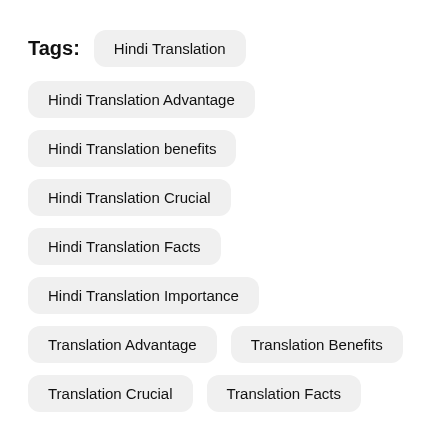Tags:
Hindi Translation
Hindi Translation Advantage
Hindi Translation benefits
Hindi Translation Crucial
Hindi Translation Facts
Hindi Translation Importance
Translation Advantage
Translation Benefits
Translation Crucial
Translation Facts